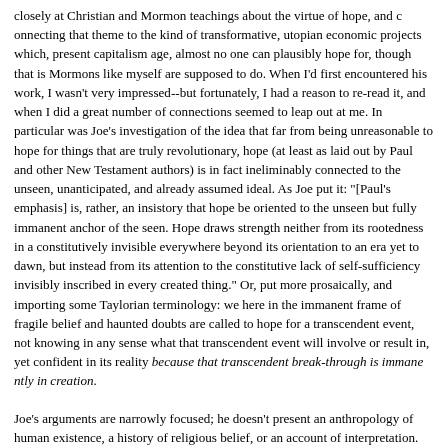closely at Christian and Mormon teachings about the virtue of hope, and connecting that theme to the kind of transformative, utopian economic projects which, in our present capitalism age, almost no one can plausibly hope for, though that is what Mormons like myself are supposed to do. When I'd first encountered his work, I wasn't very impressed--but fortunately, I had a reason to re-read it, and when I did a great number of connections seemed to leap out at me. In particular was Joe's investigation of the idea that far from being unreasonable to hope for things that are truly revolutionary, hope (at least as laid out by Paul and other New Testament authors) is in fact ineliminably connected to the unseen, unanticipated, and not-already assumed ideal. As Joe put it: "[Paul's emphasis] is, rather, an insistence that hope be oriented to the unseen but fully immanent anchor of the seen. Hope draws strength neither from its rootedness in a constitutively invisible everywhere beyond its orientation to an era yet to dawn, but instead from its attention to the constitutive lack of self-sufficiency invisibly inscribed in every created thing." Or, put more prosaically, and importing some Taylorian terminology: we here in the immanent frame of fragile belief and haunted doubts are called to hope for a transcendent event, not knowing in any sense what that transcendent event will involve or result in, yet confident in its reality because that transcendent break-through is immanently in creation.
Joe's arguments are narrowly focused; he doesn't present an anthropology of human existence, a history of religious belief, or an account of interpretation. But I find this narrow focus extremely illuminating in terms of this strange discontent I've felt as Smith's presentation go Taylor's philosophical account of our secular moment whose whole project is to get the Mormon faithful to think clearly about what it...